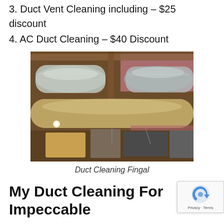2. Air Duct Cleaning Service – $40 off
3. Duct Vent Cleaning including – $25 discount
4. AC Duct Cleaning – $40 Discount
[Figure (photo): Interior photo of a building's ceiling showing multiple large metallic flexible air ducts and insulated ductwork running across the ceiling, with pink insulation and wooden beams visible in the background, and HVAC equipment visible in the lower portion.]
Duct Cleaning Fingal
My Duct Cleaning For Impeccable